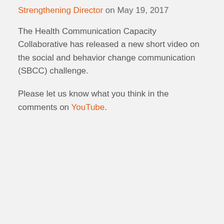Strengthening Director on May 19, 2017
The Health Communication Capacity Collaborative has released a new short video on the social and behavior change communication (SBCC) challenge.
Please let us know what you think in the comments on YouTube.